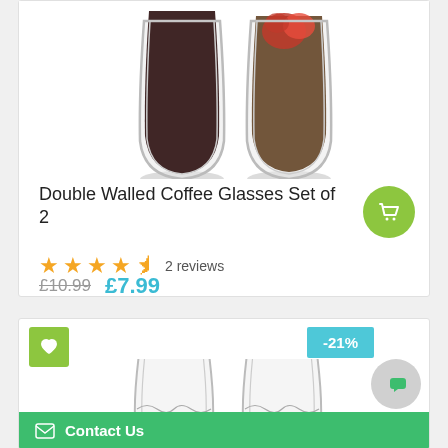[Figure (photo): Two double-walled glass cups, one filled with dark coffee and one with flowering tea, partially visible at top of card]
Double Walled Coffee Glasses Set of 2
2 reviews
£10.99 £7.99
[Figure (photo): Two clear double-walled glass cups side by side, bottom portion visible, with -21% discount badge, wishlist heart button, chat button, and Contact Us bar]
-21%
Contact Us